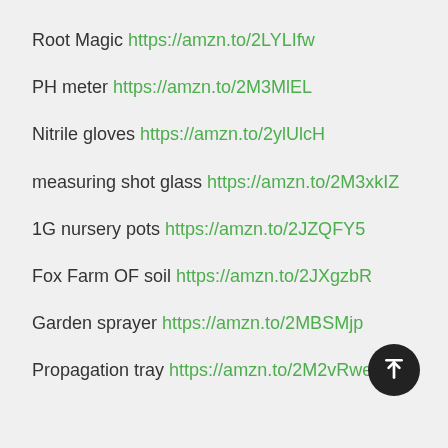Root Magic https://amzn.to/2LYLIfw
PH meter https://amzn.to/2M3MlEL
Nitrile gloves https://amzn.to/2ylUlcH
measuring shot glass https://amzn.to/2M3xkIZ
1G nursery pots https://amzn.to/2JZQFY5
Fox Farm OF soil https://amzn.to/2JXgzbR
Garden sprayer https://amzn.to/2MBSMjp
Propagation tray https://amzn.to/2M2vRwe